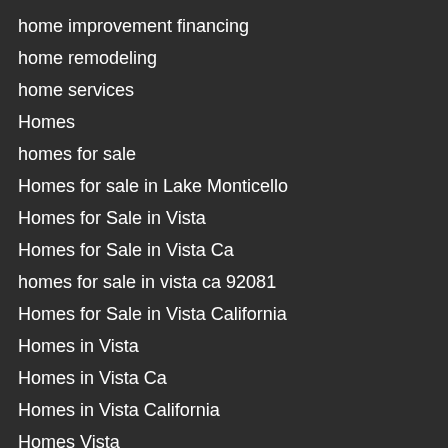home improvement financing
home remodeling
home services
Homes
homes for sale
Homes for sale in Lake Monticello
Homes for Sale in Vista
Homes for Sale in Vista Ca
homes for sale in vista ca 92081
Homes for Sale in Vista California
Homes in Vista
Homes in Vista Ca
Homes in Vista California
Homes Vista
Homes Vista Ca
Homes Vista California
house for sale